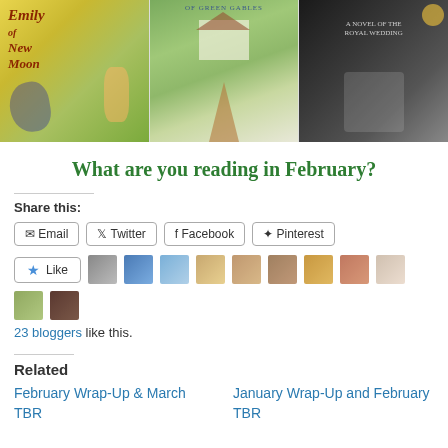[Figure (photo): Three book covers side by side: Emily of New Moon (colorful illustrated cover), Anne of Green Gables (photo of woman in red dress by farmhouse), and a third book with black and white royal wedding theme.]
What are you reading in February?
Share this:
Email  Twitter  Facebook  Pinterest
Like  [23 blogger avatars]
23 bloggers like this.
Related
February Wrap-Up & March TBR
January Wrap-Up and February TBR